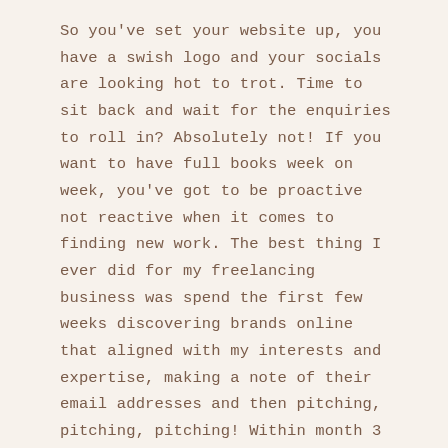So you've set your website up, you have a swish logo and your socials are looking hot to trot. Time to sit back and wait for the enquiries to roll in? Absolutely not! If you want to have full books week on week, you've got to be proactive not reactive when it comes to finding new work. The best thing I ever did for my freelancing business was spend the first few weeks discovering brands online that aligned with my interests and expertise, making a note of their email addresses and then pitching, pitching, pitching! Within month 3 of freelancing I was already at capacity and since then have got most of my new business through word of mouth and referrals.